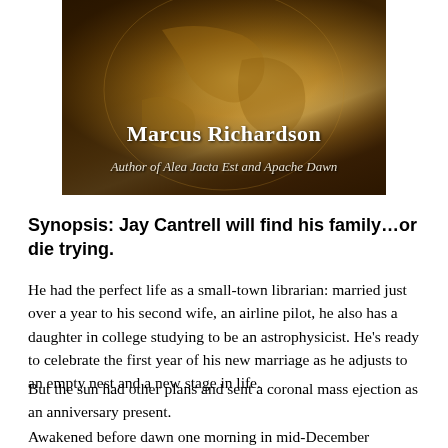[Figure (illustration): Book cover image showing a globe or planet with golden/brown tones, author name Marcus Richardson and subtitle 'Author of Alea Jacta Est and Apache Dawn']
Synopsis: Jay Cantrell will find his family…or die trying.
He had the perfect life as a small-town librarian: married just over a year to his second wife, an airline pilot, he also has a daughter in college studying to be an astrophysicist. He's ready to celebrate the first year of his new marriage as he adjusts to an empty nest and a new stage in life.
But the sun had other plans and sent a coronal mass ejection as an anniversary present.
Awakened before dawn one morning in mid-December